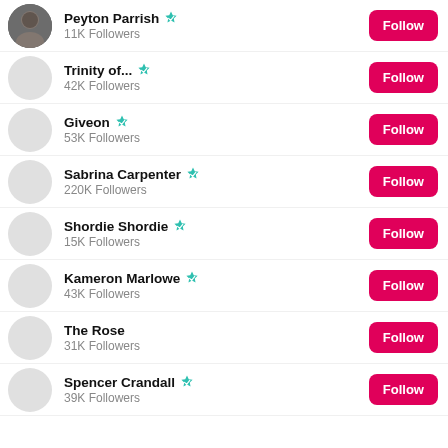Peyton Parrish - verified - 11K Followers - Follow
Trinity of... - verified - 42K Followers - Follow
Giveon - verified - 53K Followers - Follow
Sabrina Carpenter - verified - 220K Followers - Follow
Shordie Shordie - verified - 15K Followers - Follow
Kameron Marlowe - verified - 43K Followers - Follow
The Rose - 31K Followers - Follow
Spencer Crandall - verified - 39K Followers - Follow